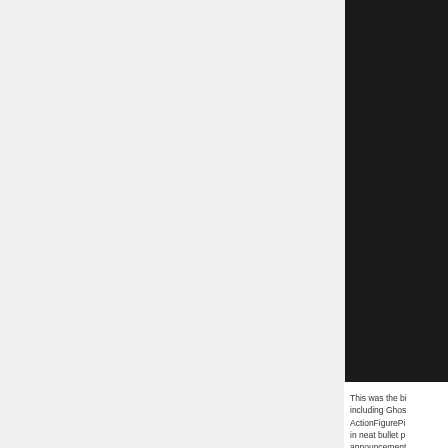[Figure (photo): Dark/black sidebar panel on the right side of the page, appears to be a cropped image region]
This was the bi including Ghos ActionFigurePi in neat bullet p announcement
[Read the rest
Tags: Classica